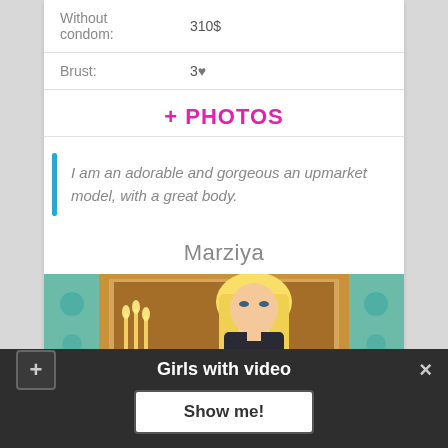| Without condom: | 310$ |
| Brust: | 3 ♥ |
+ PHOTOS
I am an adorable and gorgeous an upmarket model, with a great body.
Marziya
[Figure (photo): Blonde woman photographed in front of an ornate gold frame with candles and teal decorative background]
Girls with video
Show me!